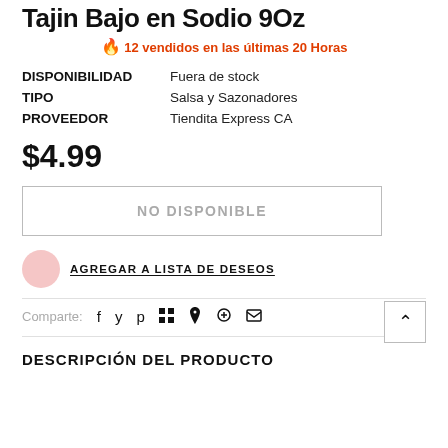Tajin Bajo en Sodio 9Oz
🔥 12 vendidos en las últimas 20 Horas
| DISPONIBILIDAD | Fuera de stock |
| TIPO | Salsa y Sazonadores |
| PROVEEDOR | Tiendita Express CA |
$4.99
NO DISPONIBLE
AGREGAR A LISTA DE DESEOS
Comparte:
DESCRIPCIÓN DEL PRODUCTO